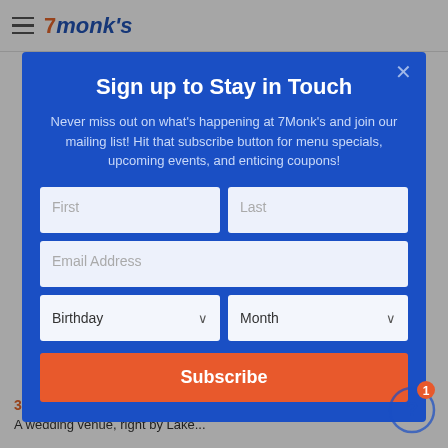7Monk's
Sign up to Stay in Touch
Never miss out on what's happening at 7Monk's and join our mailing list! Hit that subscribe button for menu specials, upcoming events, and enticing coupons!
First | Last | Email Address | Birthday | Month | Subscribe
3. Cedar Skies - Barn
A wedding venue, right by Lake...